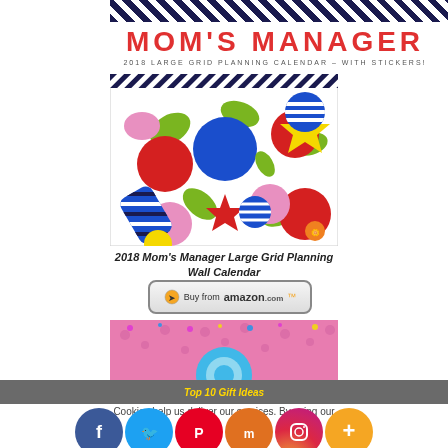[Figure (illustration): Decorative diagonal stripe pattern at top]
MOM'S MANAGER
2018 LARGE GRID PLANNING CALENDAR – WITH STICKERS!
[Figure (illustration): Colorful abstract floral/candy pattern calendar cover image with flowers, stripes, circles in red, blue, yellow, green, pink colors]
2018 Mom's Manager Large Grid Planning Wall Calendar
[Figure (illustration): Buy from amazon.com button]
[Figure (illustration): Pink floral decorative product image at bottom]
Top 10 Gift Ideas
Cookies help us deliver our services. By using our
[Figure (illustration): Social media share buttons: Facebook, Twitter, Pinterest, Mix, Instagram, Plus]